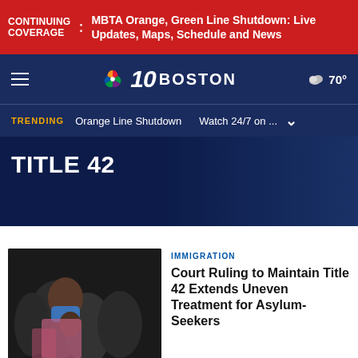CONTINUING COVERAGE : MBTA Orange, Green Line Shutdown: Live Updates, Maps, Schedule and News
NBC 10 BOSTON — 70°
TRENDING  Orange Line Shutdown  Watch 24/7 on ...
TITLE 42
IMMIGRATION
Court Ruling to Maintain Title 42 Extends Uneven Treatment for Asylum-Seekers